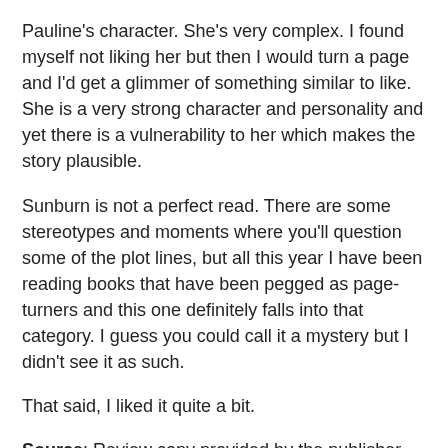Pauline's character. She's very complex. I found myself not liking her but then I would turn a page and I'd get a glimmer of something similar to like. She is a very strong character and personality and yet there is a vulnerability to her which makes the story plausible.
Sunburn is not a perfect read. There are some stereotypes and moments where you'll question some of the plot lines, but all this year I have been reading books that have been pegged as page-turners and this one definitely falls into that category. I guess you could call it a mystery but I didn't see it as such.
That said, I liked it quite a bit.
Source: Review copy provided by the publisher.
Disclosure: This post contains Indiebound affiliate links.